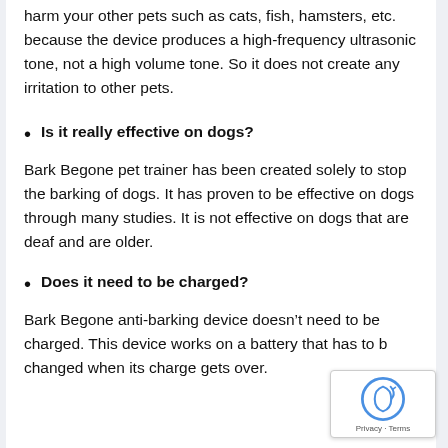harm your other pets such as cats, fish, hamsters, etc. because the device produces a high-frequency ultrasonic tone, not a high volume tone. So it does not create any irritation to other pets.
Is it really effective on dogs?
Bark Begone pet trainer has been created solely to stop the barking of dogs. It has proven to be effective on dogs through many studies. It is not effective on dogs that are deaf and are older.
Does it need to be charged?
Bark Begone anti-barking device doesn't need to be charged. This device works on a battery that has to be changed when its charge gets over.